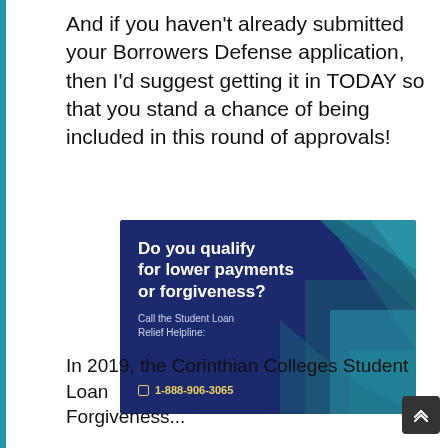And if you haven't already submitted your Borrowers Defense application, then I'd suggest getting it in TODAY so that you stand a chance of being included in this round of approvals!
[Figure (infographic): Advertisement banner with dark blue background and teal/blue geometric shapes. Text reads: 'Do you qualify for lower payments or forgiveness? Call the Student Loan Relief Helpline: 1-888-906-3065']
In 2019, the Corinthian Colleges Student Loan Forgiveness...